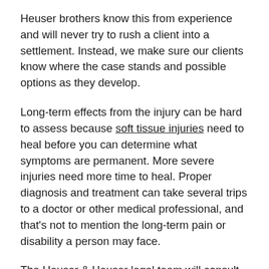Heuser brothers know this from experience and will never try to rush a client into a settlement. Instead, we make sure our clients know where the case stands and possible options as they develop.
Long-term effects from the injury can be hard to assess because soft tissue injuries need to heal before you can determine what symptoms are permanent. More severe injuries need more time to heal. Proper diagnosis and treatment can take several trips to a doctor or other medical professional, and that's not to mention the long-term pain or disability a person may face.
The Heuser & Heuser legal team will consult doctors, therapists, economists, and other experts to construct a clear picture of damage from the injury, treatment required for recovery and/or modifications needed for living with the effects of the injury.